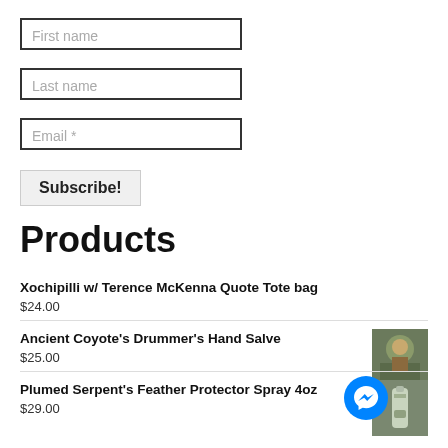First name
Last name
Email *
Subscribe!
Products
Xochipilli w/ Terence McKenna Quote Tote bag
$24.00
Ancient Coyote's Drummer's Hand Salve
$25.00
[Figure (photo): Product photo for Ancient Coyote's Drummer's Hand Salve]
Plumed Serpent's Feather Protector Spray 4oz
$29.00
[Figure (photo): Product photo for Plumed Serpent's Feather Protector Spray 4oz]
[Figure (other): Facebook Messenger chat button (blue circle with chat icon)]